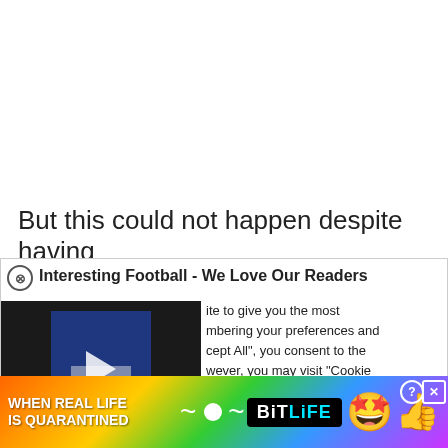But this could not happen despite having
[Figure (screenshot): Cookie consent popup overlay with video thumbnail (press conference/football briefing scene on left, partial cookie consent text on right, close X button top-left, dismiss X bottom-right, Cookie Settings and Accept All buttons at bottom)]
[Figure (screenshot): Colorful BitLife advertisement banner at bottom reading WHEN REAL LIFE IS QUARANTINED with BitLife logo, star-eyes emoji, thumbs up emoji, and close/info icons]